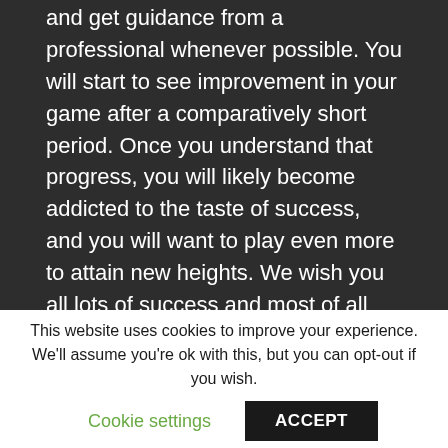and get guidance from a professional whenever possible. You will start to see improvement in your game after a comparatively short period. Once you understand that progress, you will likely become addicted to the taste of success, and you will want to play even more to attain new heights. We wish you all lots of success and most of all have pleasure!
At FGX, we have a skilled team that produces innovative Golf commodities from the love and experience of PGA Professional coach Paul Woodhouse and single figure golfer and businessman Peter Smith.
This website uses cookies to improve your experience. We'll assume you're ok with this, but you can opt-out if you wish.
Cookie settings
ACCEPT